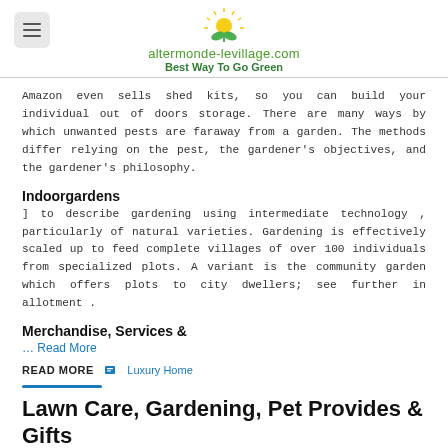altermonde-levillage.com Best Way To Go Green
Amazon even sells shed kits, so you can build your individual out of doors storage. There are many ways by which unwanted pests are faraway from a garden. The methods differ relying on the pest, the gardener's objectives, and the gardener's philosophy.
Indoorgardens
] to describe gardening using intermediate technology , particularly of natural varieties. Gardening is effectively scaled up to feed complete villages of over 100 individuals from specialized plots. A variant is the community garden which offers plots to city dwellers; see further in allotment .
Merchandise, Services &
… Read More
READ MORE   Luxury Home
Lawn Care, Gardening, Pet Provides & Gifts